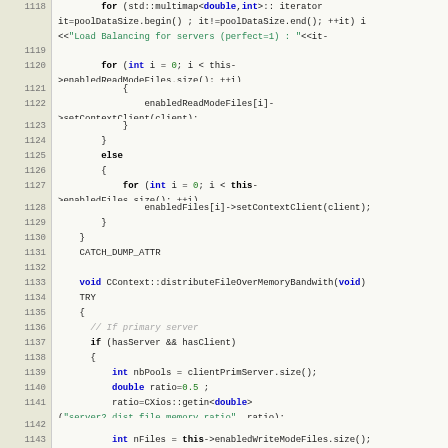[Figure (screenshot): Source code listing (C++) with line numbers 1118-1143, showing code for pool data iteration, context client setting, file distribution over memory bandwidth, and related logic.]